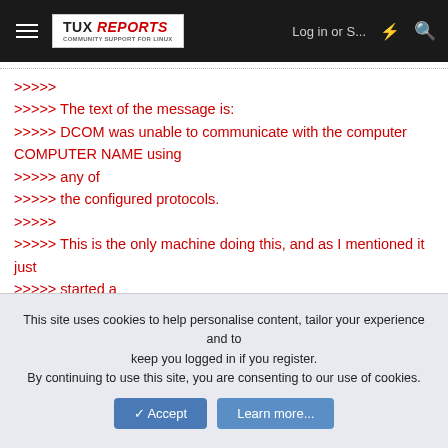TUX REPORTS | Log in or S... | [icons]
>>>>>
>>>>> The text of the message is:
>>>>> DCOM was unable to communicate with the computer COMPUTER NAME using
>>>>> any of
>>>>> the configured protocols.
>>>>>
>>>>> This is the only machine doing this, and as I mentioned it just
>>>>> started a
>>>>> few weeks ago. Nothing has changed or been installed on the system.
>>>>>
>>>>> There is no spyware or Viruses on this machine.
This site uses cookies to help personalise content, tailor your experience and to keep you logged in if you register.
By continuing to use this site, you are consenting to our use of cookies.